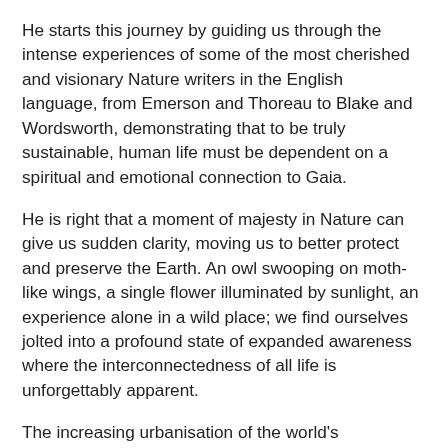He starts this journey by guiding us through the intense experiences of some of the most cherished and visionary Nature writers in the English language, from Emerson and Thoreau to Blake and Wordsworth, demonstrating that to be truly sustainable, human life must be dependent on a spiritual and emotional connection to Gaia.
He is right that a moment of majesty in Nature can give us sudden clarity, moving us to better protect and preserve the Earth. An owl swooping on moth-like wings, a single flower illuminated by sunlight, an experience alone in a wild place; we find ourselves jolted into a profound state of expanded awareness where the interconnectedness of all life is unforgettably apparent.
The increasing urbanisation of the world's population may have caused huge sections of humanity to lose their orientation, leaving their senses withered, but von Essen says the forgotten contact with Nature can be regained. All we need to do is, periodically, immerse ourselves in the wild and in the experience of seeing, smelling and touching our fellow animal, mineral and plant beings. "The deep pleasure and harmonic...